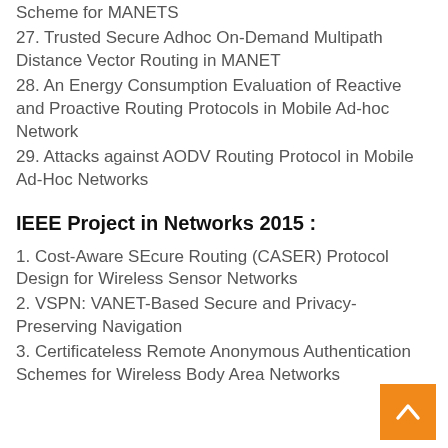Scheme for MANETS
27. Trusted Secure Adhoc On-Demand Multipath Distance Vector Routing in MANET
28. An Energy Consumption Evaluation of Reactive and Proactive Routing Protocols in Mobile Ad-hoc Network
29. Attacks against AODV Routing Protocol in Mobile Ad-Hoc Networks
IEEE Project in Networks 2015 :
1. Cost-Aware SEcure Routing (CASER) Protocol Design for Wireless Sensor Networks
2. VSPN: VANET-Based Secure and Privacy-Preserving Navigation
3. Certificateless Remote Anonymous Authentication Schemes for Wireless Body Area Networks